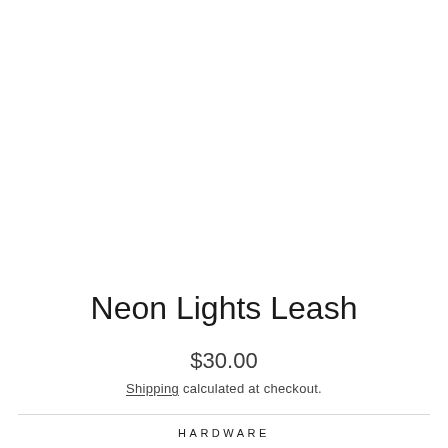Neon Lights Leash
$30.00
Shipping calculated at checkout.
HARDWARE